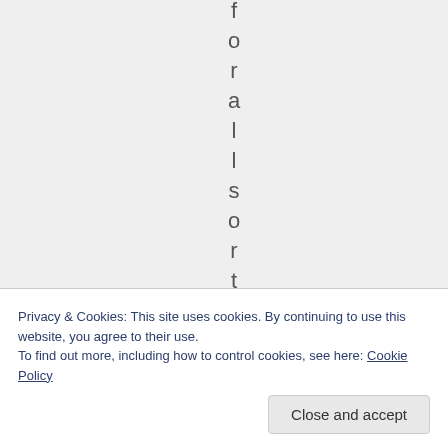[Figure (other): Vertical text spelling out letters 'f o r a l l s o r t s' displayed character by character from top to bottom in gray on a light gray background]
Privacy & Cookies: This site uses cookies. By continuing to use this website, you agree to their use. To find out more, including how to control cookies, see here: Cookie Policy
Close and accept